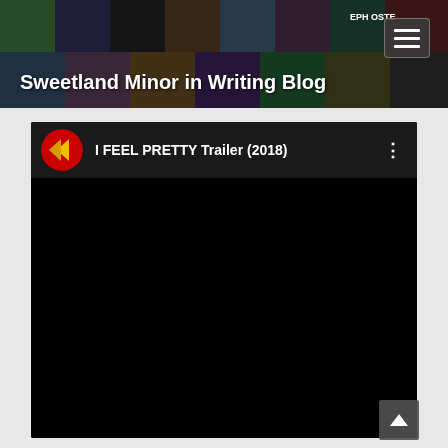Sweetland Minor in Writing Blog
[Figure (screenshot): YouTube video embed showing 'I FEEL PRETTY Trailer (2018)' with a red circular channel logo with a yellow/gold left-pointing arrow, on a dark background. The video area below is entirely black.]